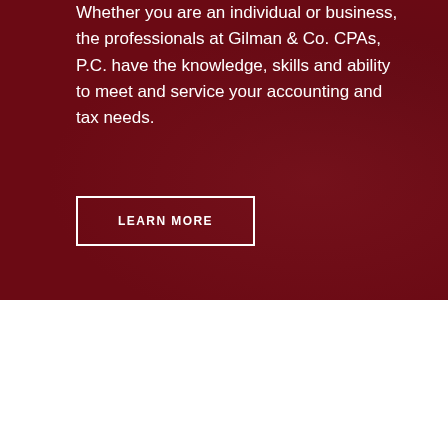Whether you are an individual or business, the professionals at Gilman & Co. CPAs, P.C. have the knowledge, skills and ability to meet and service your accounting and tax needs.
LEARN MORE
““
Gilman and Company was a very critical